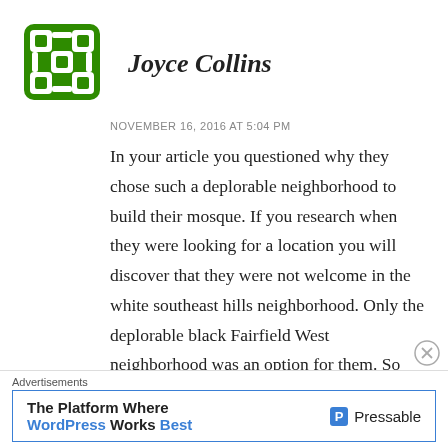Joyce Collins
NOVEMBER 16, 2016 AT 5:04 PM
In your article you questioned why they chose such a deplorable neighborhood to build their mosque. If you research when they were looking for a location you will discover that they were not welcome in the white southeast hills neighborhood. Only the deplorable black Fairfield West neighborhood was an option for them. So don't fool yourself about Huntingtonians being so accepting.
Advertisements
The Platform Where WordPress Works Best   Pressable